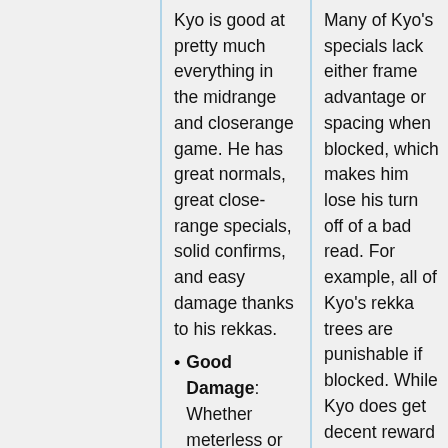Kyo is good at pretty much everything in the midrange and closerange game. He has great normals, great close-range specials, solid confirms, and easy damage thanks to his rekkas.
Good Damage: Whether meterless or metered, Kyo
Many of Kyo's specials lack either frame advantage or spacing when blocked, which makes him lose his turn off of a bad read. For example, all of Kyo's rekka trees are punishable if blocked. While Kyo does get decent reward off of successful rekka reads, he must